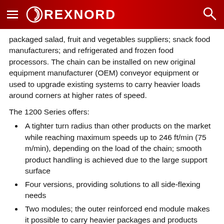REXNORD
packaged salad, fruit and vegetables suppliers; snack food manufacturers; and refrigerated and frozen food processors. The chain can be installed on new original equipment manufacturer (OEM) conveyor equipment or used to upgrade existing systems to carry heavier loads around corners at higher rates of speed.
The 1200 Series offers:
A tighter turn radius than other products on the market while reaching maximum speeds up to 246 ft/min (75 m/min), depending on the load of the chain; smooth product handling is achieved due to the large support surface
Four versions, providing solutions to all side-flexing needs
Two modules; the outer reinforced end module makes it possible to carry heavier packages and products around curves (up to 50 percent more product weight)
An inner radius module that makes it possible to construct conveyors in a more compact way.